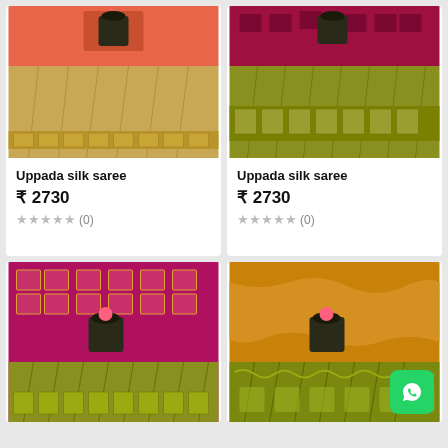[Figure (photo): Uppada silk saree in coral/pink with gold border, top-down view of folded fabric]
Uppada silk saree
₹ 2730
★★★★★ (0)
[Figure (photo): Uppada silk saree in magenta/pink with olive gold border, top-down view]
Uppada silk saree
₹ 2730
★★★★★ (0)
[Figure (photo): Uppada silk saree in deep magenta with gold motifs and olive gold border]
[Figure (photo): Uppada silk saree in mustard/golden color with olive green border]